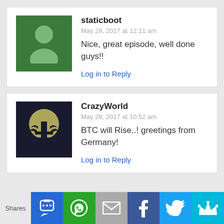staticboot
May 28, 2017 at 12:11 am
Nice, great episode, well done guys!!
Log in to Reply
CrazyWorld
May 28, 2017 at 10:52 am
BTC will Rise..! greetings from Germany!
Log in to Reply
Shares